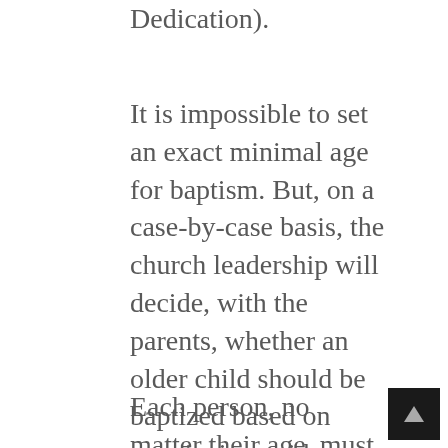Dedication).
It is impossible to set an exact minimal age for baptism. But, on a case-by-case basis, the church leadership will decide, with the parents, whether an older child should be baptized based on convincing evidence of genuine faith and spiritual regeneration and a desire to follow Christ.
Each person, no matter their age, must search their own heart and...